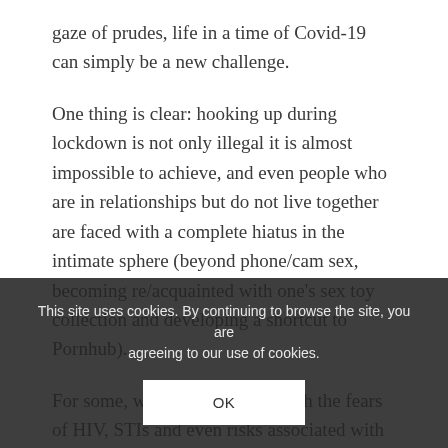gaze of prudes, life in a time of Covid-19 can simply be a new challenge.
One thing is clear: hooking up during lockdown is not only illegal it is almost impossible to achieve, and even people who are in relationships but do not live together are faced with a complete hiatus in the intimate sphere (beyond phone/cam sex, becoming re/acquainted with one’s sex toy collection and developing a shortcut to Pornhub).
For some, who have lived through the fears of HIV, STIs and even risks associated with hook up culture, a prohibition on sex may seem like another hurdle to be negotiated, not re—, say, 28, from Spain, in a Huffpost story, h— this easy:
This site uses cookies. By continuing to browse the site, you are agreeing to our use of cookies.